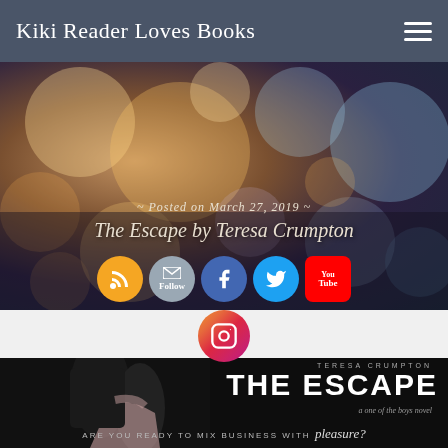Kiki Reader Loves Books
[Figure (photo): Bokeh lights banner with text 'Posted on March 27, 2019' and 'The Escape by Teresa Crumpton' with social media icons (RSS, Email, Facebook, Twitter, YouTube, Instagram)]
[Figure (photo): Book cover for 'The Escape' by Teresa Crumpton - a one of the boys novel, with tagline 'ARE YOU READY TO MIX BUSINESS WITH pleasure?', showing a couple embracing]